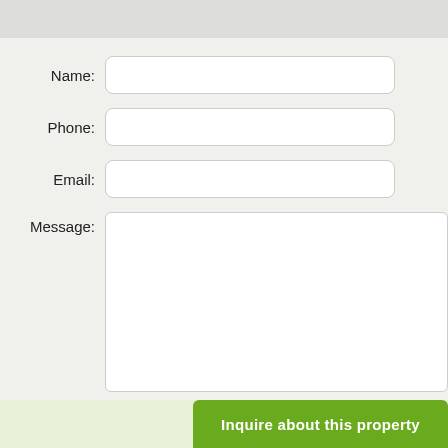Name:
Phone:
Email:
Message:
[Figure (photo): Generic person silhouette placeholder avatar image]
(519) 56...
Also create free propertysold profile
Enter Number
[Figure (other): CAPTCHA image showing characters: 8 1 5 h 3 9]
Inquire about this property